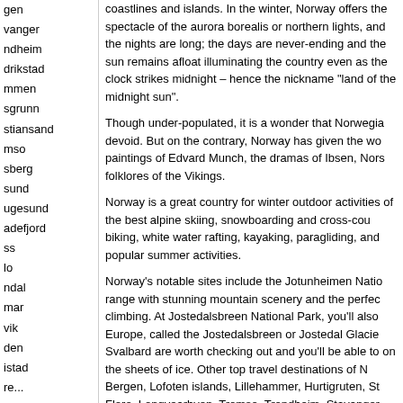gen
vanger
ndheim
drikstad
mmen
sgrunn
stiansand
mso
sberg
sund
ugesund
adefjord
ss
lo
ndal
mar
vik
den
istad
re...
coastlines and islands. In the winter, Norway offers the spectacle of the aurora borealis or northern lights, and the nights are long; the days are never-ending and the sun remains afloat illuminating the country even as the clock strikes midnight – hence the nickname "land of the midnight sun".
Though under-populated, it is a wonder that Norway is culturally devoid. But on the contrary, Norway has given the world the paintings of Edvard Munch, the dramas of Ibsen, Norse myths and folklores of the Vikings.
Norway is a great country for winter outdoor activities and is home of the best alpine skiing, snowboarding and cross-country skiing. biking, white water rafting, kayaking, paragliding, and more are popular summer activities.
Norway's notable sites include the Jotunheimen National Park, a range with stunning mountain scenery and the perfect spot for climbing. At Jostedalsbreen National Park, you'll also find the largest glacier in Europe, called the Jostedalsbreen or Jostedal Glacier. The islands of Svalbard are worth checking out and you'll be able to witness polar bears on the sheets of ice. Other top travel destinations of Norway are Bergen, Lofoten islands, Lillehammer, Hurtigruten, Stavanger, Floro, Longyearbyen, Tromso, Trondheim, Stavanger, Fredrikstad, Skien, and Haugesund.
Daily Life in Norway
Norwegians enjoy life. They start the day with a hearty breakfast; there is little need for a heavy lunch, school is usually over at 2 and offices close at 4. Shops and factories close by 5 p.m. and since there is ample leisure time left over for sports and...